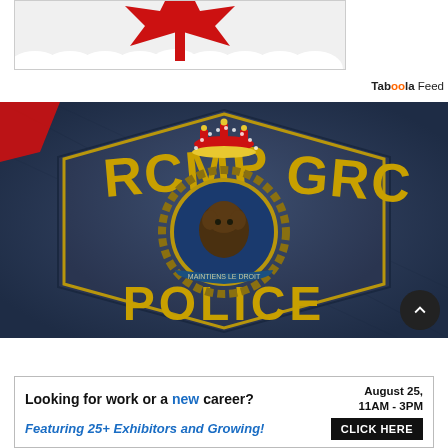[Figure (illustration): Partial view of a red maple leaf illustration with white cloud-like border, from a Canadian-themed graphic]
Taboola Feed
[Figure (photo): Close-up photograph of an RCMP / GRC (Royal Canadian Mounted Police) shoulder badge/patch on a dark navy uniform. The patch shows the RCMP GRC text in gold letters, with POLICE at the bottom, and the Royal Canadian Mounted Police crest in the center featuring a crown, wreath, and bison head.]
[Figure (infographic): Advertisement banner: 'Looking for work or a new career? August 25, 11AM-3PM. Featuring 25+ Exhibitors and Growing! CLICK HERE']